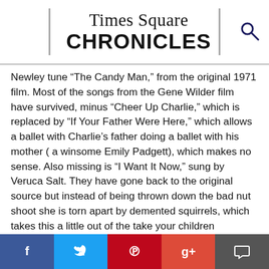Times Square CHRONICLES
Newley tune “The Candy Man,” from the original 1971 film. Most of the songs from the Gene Wilder film have survived, minus “Cheer Up Charlie,” which is replaced by “If Your Father Were Here,” which allows a ballet with Charlie’s father doing a ballet with his mother ( a winsome Emily Padgett), which makes no sense. Also missing is “I Want It Now,” sung by Veruca Salt. They have gone back to the original source but instead of being thrown down the bad nut shoot she is torn apart by demented squirrels, which takes this a little out of the take your children category.
By revealing Wonka in the beginning, he is never a surprise. Another puzzling feature is when Charlie (the